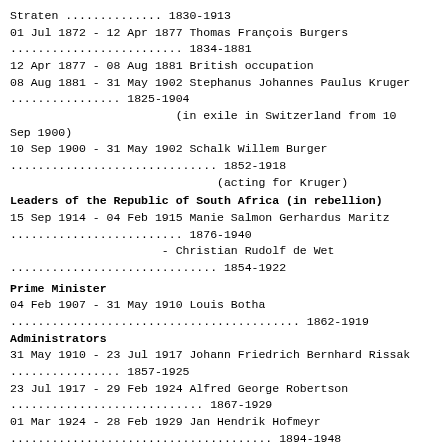Straten .............. 1830-1913
01 Jul 1872 - 12 Apr 1877 Thomas François Burgers
......................... 1834-1881
12 Apr 1877 - 08 Aug 1881 British occupation
08 Aug 1881 - 31 May 1902 Stephanus Johannes Paulus Kruger
................ 1825-1904
                        (in exile in Switzerland from 10 Sep 1900)
10 Sep 1900 - 31 May 1902 Schalk Willem Burger
.............................. 1852-1918
                              (acting for Kruger)
Leaders of the Republic of South Africa (in rebellion)
15 Sep 1914 - 04 Feb 1915 Manie Salmon Gerhardus Maritz
......................... 1876-1940
                      - Christian Rudolf de Wet
.............................. 1854-1922
Prime Minister
04 Feb 1907 - 31 May 1910 Louis Botha
.......................................... 1862-1919
Administrators
31 May 1910 - 23 Jul 1917 Johann Friedrich Bernhard Rissak
................ 1857-1925
23 Jul 1917 - 29 Feb 1924 Alfred George Robertson
............................ 1867-1929
01 Mar 1924 - 28 Feb 1929 Jan Hendrik Hofmeyr
...................................... 1894-1948
01 Mar 1929 - 28 Feb 1934 Jacobus Stephanus Smit
.......................... 1878-1960
01 Mar 1934 - 29 Jul 1938 Simon Potgieter Bekker
........................ 1882-1938
01 Sep 1938 - 31 Aug 1943 [name continues below]